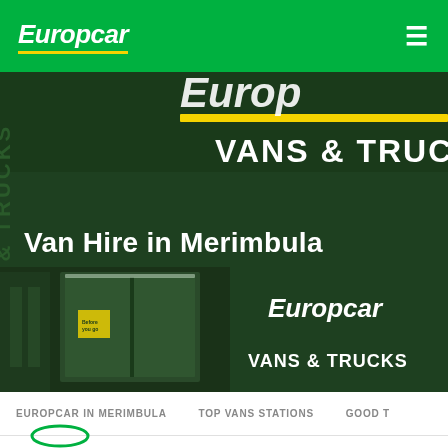Europcar
[Figure (photo): Europcar Vans & Trucks store front with dark green signage showing 'VANS & TRUCKS' text and yellow stripe, with glass entrance doors and Europcar branding]
Van Hire in Merimbula
EUROPCAR IN MERIMBULA   TOP VANS STATIONS   GOOD T